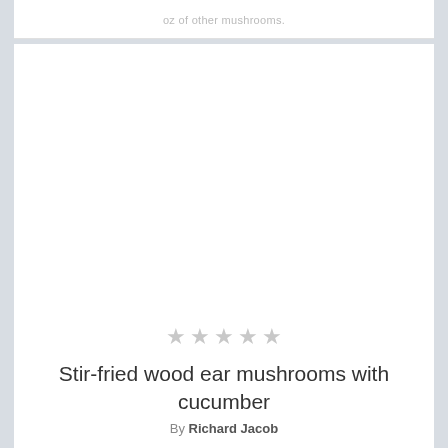oz of other mushrooms.
[Figure (photo): Large white blank image area placeholder for a recipe photo]
★★★★★
Stir-fried wood ear mushrooms with cucumber
By Richard Jacob